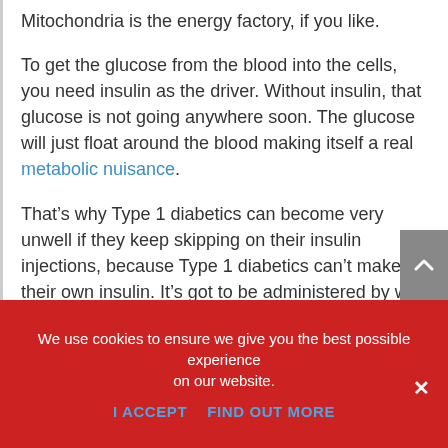Mitochondria is the energy factory, if you like.
To get the glucose from the blood into the cells, you need insulin as the driver. Without insulin, that glucose is not going anywhere soon. The glucose will just float around the blood making itself a real metabolic nuisance.
That’s why Type 1 diabetics can become very unwell if they keep skipping on their insulin injections, because Type 1 diabetics can’t make their own insulin. It’s got to be administered by way of injection.
We use cookies to ensure we give you the best possible experience on our website.
I ACCEPT   FIND OUT MORE